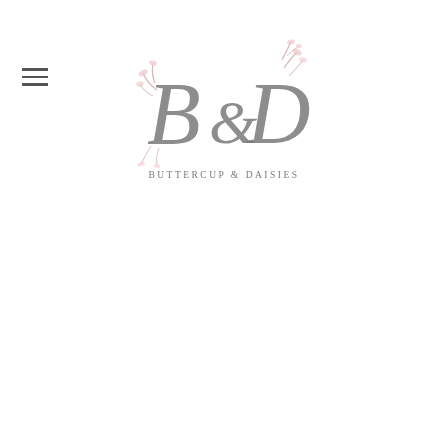[Figure (logo): Buttercup & Daisies logo with decorative serif B&D lettering and floral botanical elements in pink and grey, with subtitle text BUTTERCUP & DAISIES below]
[Figure (other): Hamburger menu icon with three horizontal lines on the left side of the header]